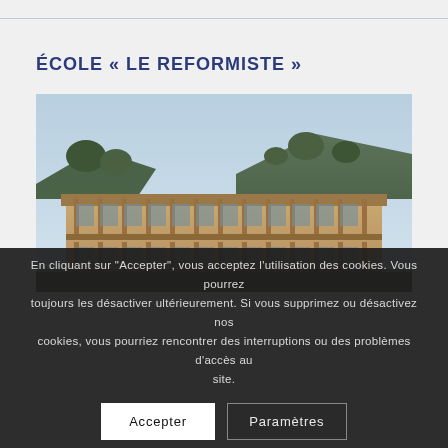ÉCOLE « LE REFORMISTE »
[Figure (photo): Exterior of a large colonial-style school building with arched verandas and columns, set against a hillside with trees and a clear blue sky.]
En cliquant sur "Accepter", vous acceptez l'utilisation des cookies. Vous pourrez toujours les désactiver ultérieurement. Si vous supprimez ou désactivez nos cookies, vous pourriez rencontrer des interruptions ou des problèmes d'accès au site.
Accepter
Paramètres